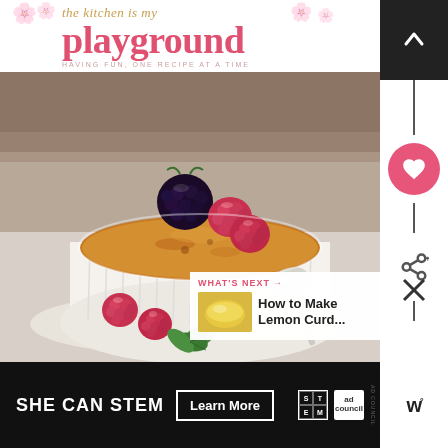[Figure (logo): The Kitchen Is My Playground blog logo with decorative cupcake/flower motifs, pink handwritten-style text reading 'the kitchen is my playground', subtitle 'HAVING FUN, ONE RECIPE AT A TIME']
[Figure (photo): Close-up food photo of creme brulee in a white ramekin topped with raspberries and a blackberry, served on a white plate with a spoon and fresh mint leaves]
WHAT'S NEXT →
How to Make Lemon Curd...
[Figure (photo): Small thumbnail of lemon curd in a small bowl]
[Figure (infographic): SHE CAN STEM advertisement banner with Learn More button, STEM logo grid, and Ad Council logo on black background]